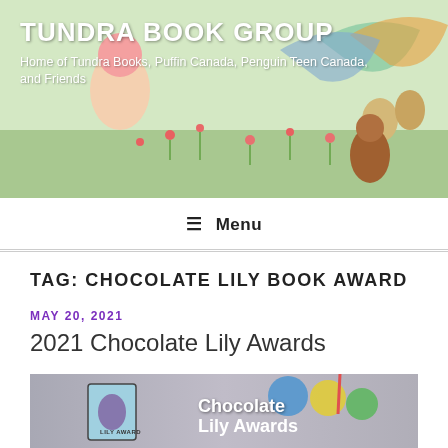TUNDRA BOOK GROUP
Home of Tundra Books, Puffin Canada, Penguin Teen Canada, and Friends
≡ Menu
TAG: CHOCOLATE LILY BOOK AWARD
MAY 20, 2021
2021 Chocolate Lily Awards
[Figure (photo): Photo showing a Chocolate Lily Award badge/book and the text 'Chocolate Lily Awards' overlaid on the image, with colourful circles in the background]